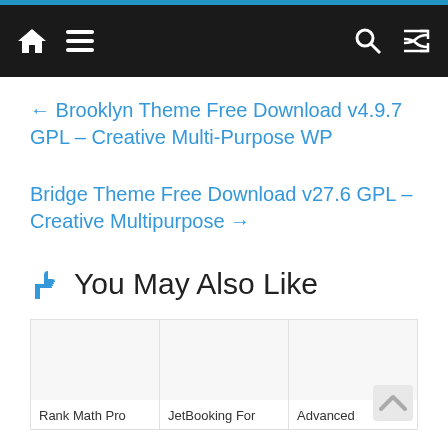Navigation bar with home, menu, search, and shuffle icons
← Brooklyn Theme Free Download v4.9.7 GPL – Creative Multi-Purpose WP
Bridge Theme Free Download v27.6 GPL – Creative Multipurpose →
👍 You May Also Like
Rank Math Pro
JetBooking For
Advanced